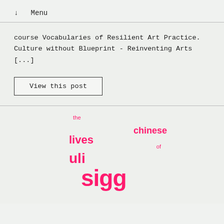↓  Menu
course Vocabularies of Resilient Art Practice. Culture without Blueprint - Reinventing Arts [...]
View this post
[Figure (logo): Logo for 'the chinese lives of uli sigg' in bold hot pink/magenta typography on a light grey-green background, with words arranged in a staggered typographic layout.]